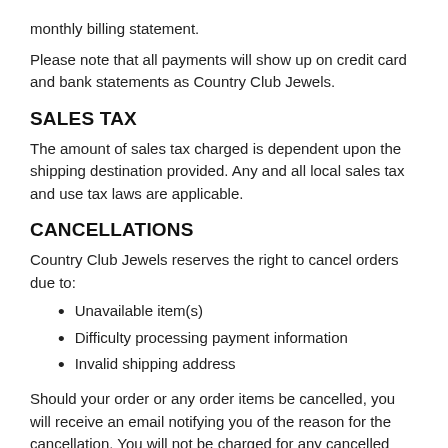monthly billing statement.
Please note that all payments will show up on credit card and bank statements as Country Club Jewels.
SALES TAX
The amount of sales tax charged is dependent upon the shipping destination provided. Any and all local sales tax and use tax laws are applicable.
CANCELLATIONS
Country Club Jewels reserves the right to cancel orders due to:
Unavailable item(s)
Difficulty processing payment information
Invalid shipping address
Should your order or any order items be cancelled, you will receive an email notifying you of the reason for the cancellation. You will not be charged for any cancelled items.
CHANGING OR CANCELLING YOUR ORDER